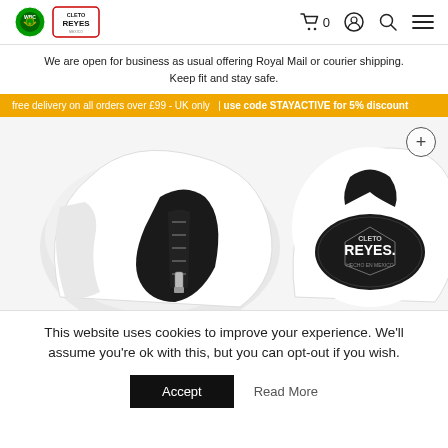WBC Cleto Reyes store header with cart, account, search, and menu icons
We are open for business as usual offering Royal Mail or courier shipping. Keep fit and stay safe.
free delivery on all orders over £99 - UK only  | use code STAYACTIVE for 5% discount
[Figure (photo): Two white Cleto Reyes boxing gloves shown close-up — left glove showing lace-up back, right glove showing the Cleto Reyes logo badge]
This website uses cookies to improve your experience. We'll assume you're ok with this, but you can opt-out if you wish.
Accept   Read More